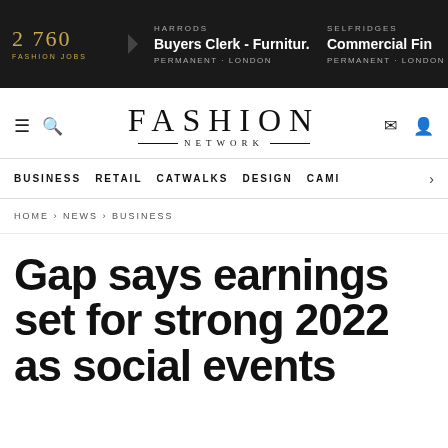2 760 FASHION JOBS | HARRODS Buyers Clerk - Furnitur... PERMANENT · LONDON | SELFRIDGES Commercial Fin PERMANENT · LONDON
[Figure (logo): Fashion Network logo with navigation icons]
BUSINESS | RETAIL | CATWALKS | DESIGN | CAMI >
HOME › NEWS › BUSINESS
Gap says earnings set for strong 2022 as social events